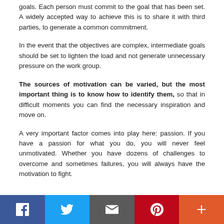goals. Each person must commit to the goal that has been set. A widely accepted way to achieve this is to share it with third parties, to generate a common commitment.
In the event that the objectives are complex, intermediate goals should be set to lighten the load and not generate unnecessary pressure on the work group.
The sources of motivation can be varied, but the most important thing is to know how to identify them, so that in difficult moments you can find the necessary inspiration and move on.
A very important factor comes into play here: passion. If you have a passion for what you do, you will never feel unmotivated. Whether you have dozens of challenges to overcome and sometimes failures, you will always have the motivation to fight.
[Figure (infographic): Social sharing bar with Facebook, Twitter, Email, Pinterest, and More (+) buttons]